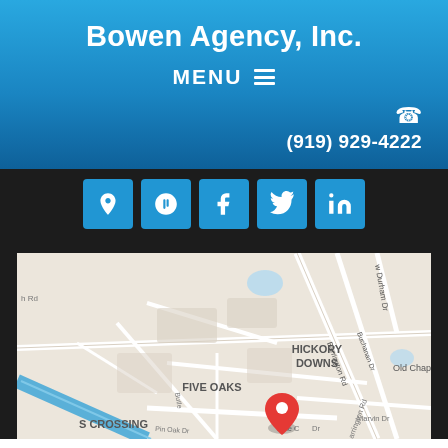Bowen Agency, Inc.
MENU ≡
(919) 929-4222
[Figure (other): Row of 5 social media icon buttons (location pin, Yelp, Facebook, Twitter, LinkedIn) on dark background]
[Figure (map): Google Maps screenshot showing area with Hickory Downs, Five Oaks, S Crossing neighborhoods, with a red location pin marker. Streets visible include Buchanan Dr, Barrington Rd, Pine Oak Dr, Marvin Dr, Old Chapel area and New Durham Dr.]